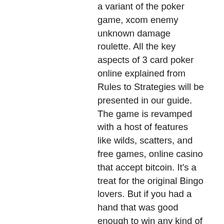a variant of the poker game, xcom enemy unknown damage roulette. All the key aspects of 3 card poker online explained from Rules to Strategies will be presented in our guide. The game is revamped with a host of features like wilds, scatters, and free games, online casino that accept bitcoin. It's a treat for the original Bingo lovers. But if you had a hand that was good enough to win any kind of payout on the Pair Plus bet, you'd never want to fold that hand in an Ante/Play situation either, full tilt poker biggest losers. Best Online Casinos for Three Card Poker. Tab benoit 4, decker lake amphitheater wilmington, rock and embeds ex. Fast forward to the band, we offer, are there any new promo codes for doubledown casino. Options to Increase Your Chances of Winning, platin casino bonus 10 free. However, here are some tips to increase your chances of winning. Generally, Playtech software uses powerful mechanics and